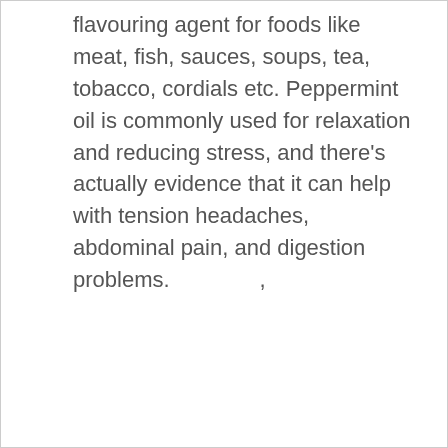flavouring agent for foods like meat, fish, sauces, soups, tea, tobacco, cordials etc. Peppermint oil is commonly used for relaxation and reducing stress, and there's actually evidence that it can help with tension headaches, abdominal pain, and digestion problems.